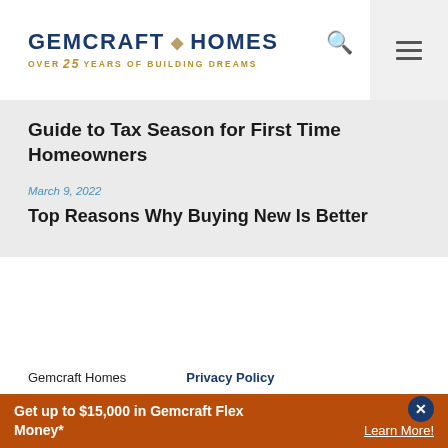[Figure (logo): Gemcraft Homes logo with diamond icon and tagline 'Over 25 Years of Building Dreams']
Guide to Tax Season for First Time Homeowners
March 9, 2022
Top Reasons Why Buying New Is Better
Gemcraft Homes   Privacy Policy
Get up to $15,000 in Gemcraft Flex Money*
Learn More!